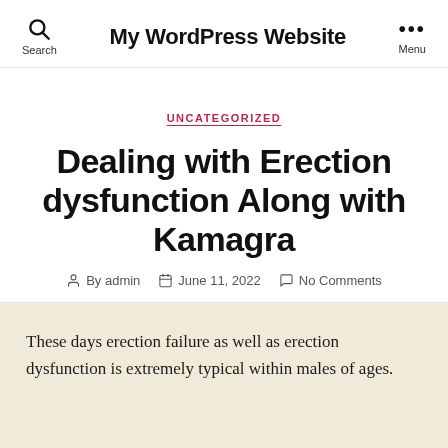My WordPress Website
UNCATEGORIZED
Dealing with Erection dysfunction Along with Kamagra
By admin  June 11, 2022  No Comments
These days erection failure as well as erection dysfunction is extremely typical within males of ages.